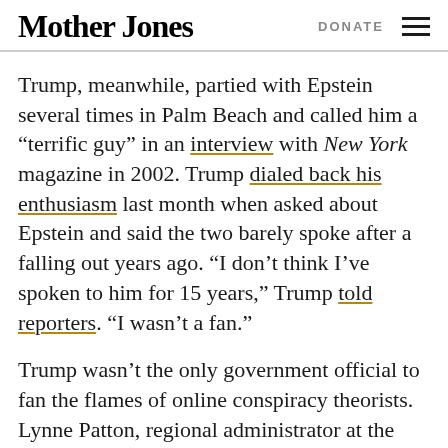Mother Jones | DONATE
Trump, meanwhile, partied with Epstein several times in Palm Beach and called him a “terrific guy” in an interview with New York magazine in 2002. Trump dialed back his enthusiasm last month when asked about Epstein and said the two barely spoke after a falling out years ago. “I don’t think I’ve spoken to him for 15 years,” Trump told reporters. “I wasn’t a fan.”
Trump wasn’t the only government official to fan the flames of online conspiracy theorists. Lynne Patton, regional administrator at the Department of Housing and Urban Development, posted a screenshot on Instagram of a Daily Mail article